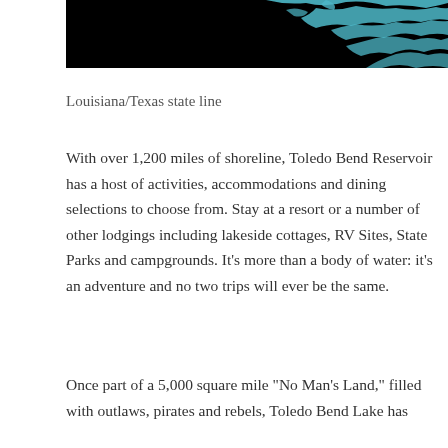[Figure (map): Partial map showing Toledo Bend Reservoir along the Louisiana/Texas state line, water shown in teal/cyan against black background]
Louisiana/Texas state line
With over 1,200 miles of shoreline, Toledo Bend Reservoir has a host of activities, accommodations and dining selections to choose from. Stay at a resort or a number of other lodgings including lakeside cottages, RV Sites, State Parks and campgrounds. It’s more than a body of water: it’s an adventure and no two trips will ever be the same.
Once part of a 5,000 square mile “No Man’s Land,” filled with outlaws, pirates and rebels, Toledo Bend Lake has